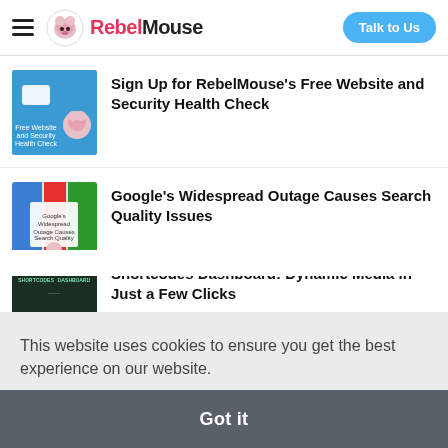RebelMouse — Talk to Us
Sign Up for RebelMouse's Free Website and Security Health Check
Google's Widespread Outage Causes Search Quality Issues
Shortcodes Dashboard: Dynamic Media in Just a Few Clicks
This website uses cookies to ensure you get the best experience on our website. Learn more
Got it
Snag an SEO Boost: Structured Data for Product